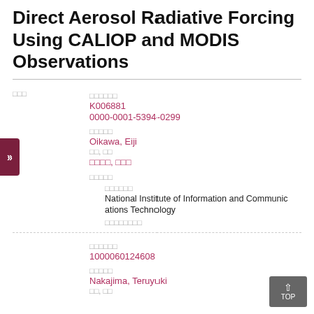Direct Aerosol Radiative Forcing Using CALIOP and MODIS Observations
研究者 | 研究者番号 K006881 | ORCID 0000-0001-5394-0299
氏名 | Oikawa, Eiji | 姓, 名 | 及川, 英次
所属機関 | 機関名 National Institute of Information and Communications Technology | 機関番号
研究者番号 1000060124608 | 氏名 Nakajima, Teruyuki | 姓, 名